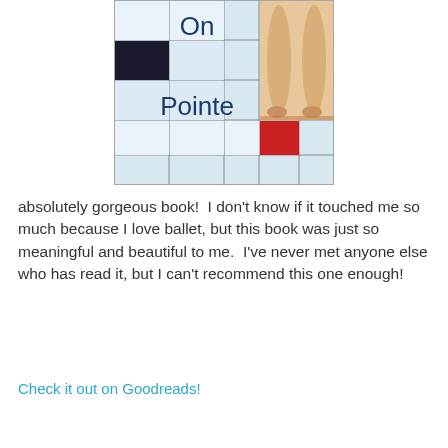[Figure (illustration): Book cover for 'On Pointe' showing a crossword-puzzle grid pattern with a black square in upper left area, the text 'On Pointe' in dark blue lettering on a light blue/white grid background, a red square in the lower right grid area, and a photo of ballet dancer's feet and legs in pointe shoes on the right side.]
absolutely gorgeous book!  I don't know if it touched me so much because I love ballet, but this book was just so meaningful and beautiful to me.  I've never met anyone else who has read it, but I can't recommend this one enough!
Check it out on Goodreads!